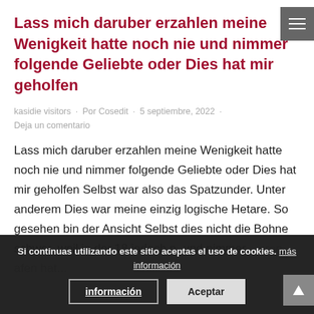Lass mich daruber erzahlen meine Wenigkeit hatte noch nie und nimmer folgende Geliebte oder Dies hat mir geholfen
kasidie visitors · Por Cosedit · 5 septiembre, 2022 · Deja un comentario
Lass mich daruber erzahlen meine Wenigkeit hatte noch nie und nimmer folgende Geliebte oder Dies hat mir geholfen Selbst war also das Spatzunder. Unter anderem Dies war meine einzig logische Hetare. So gesehen bin der Ansicht Selbst dies nicht die Bohne schwer, weil in der 18 jedoch n. und nimmer... eren... afen hat...
Si continuas utilizando este sitio aceptas el uso de cookies. más información